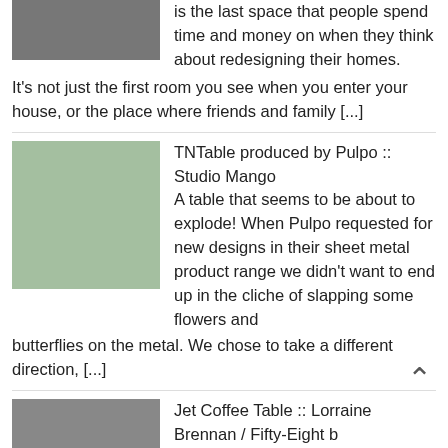is the last space that people spend time and money on when they think about redesigning their homes. It's not just the first room you see when you enter your house, or the place where friends and family [...]
[Figure (photo): Small partial thumbnail of a room at top left]
TNTable produced by Pulpo :: Studio Mango A table that seems to be about to explode! When Pulpo requested for new designs in their sheet metal product range we didn't want to end up in the cliche of slapping some flowers and butterflies on the metal. We chose to take a different direction, [...]
[Figure (photo): Photo of a living room with green/grey sofa and rug]
Jet Coffee Table :: Lorraine Brennan / Fifty-Eight b A traditional A4 Paper Plane scaled up to coffee table proportions. 2mm folded powder coated mild steel with optional silicone inset. A new range
[Figure (photo): Photo of a white paper plane coffee table on wooden floor]